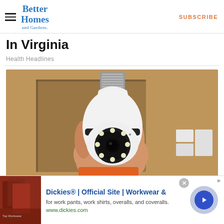Better Homes and Gardens | SUBSCRIBE
In Virginia
Health Headlines
[Figure (photo): A hand holding a white security camera disguised as a light bulb, with a metal screw base at top and a rotating camera head with LED lights visible. Background shows cardboard/wood shelving.]
Dickies® | Official Site | Workwear &
for work pants, work shirts, overalls, and coveralls.
www.dickies.com